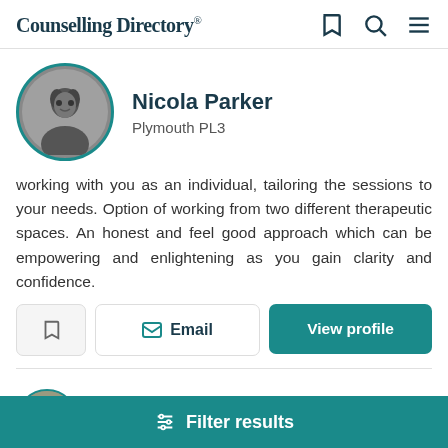Counselling Directory
[Figure (photo): Circular profile photo of Nicola Parker, black and white, woman with curly dark hair, teal circle border]
Nicola Parker
Plymouth PL3
working with you as an individual, tailoring the sessions to your needs. Option of working from two different therapeutic spaces. An honest and feel good approach which can be empowering and enlightening as you gain clarity and confidence.
Email | View profile
[Figure (photo): Partial circular profile photo of Catherine Hutchins with teal border]
Catherine Hutchins
Filter results